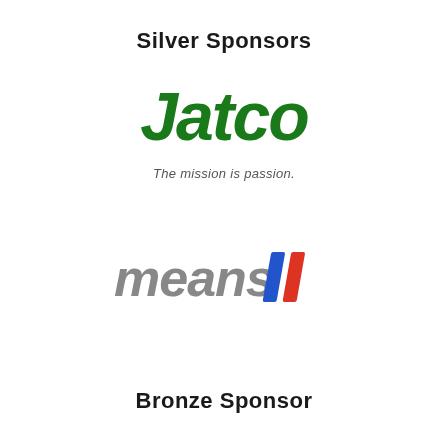Silver Sponsors
[Figure (logo): Jatco logo in dark green italic bold font with tagline 'The mission is passion.']
[Figure (logo): means II logo in gray italic font with two diagonal stripes in blue and red]
Bronze Sponsor